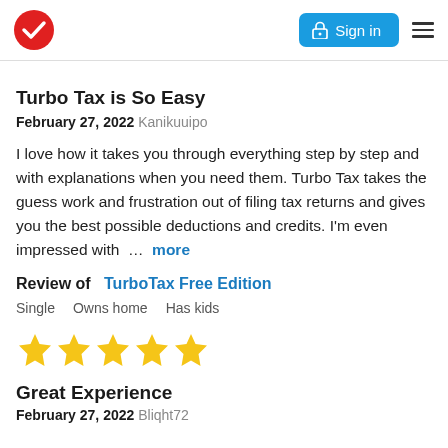TurboTax logo | Sign in | Menu
Turbo Tax is So Easy
February 27, 2022 Kanikuuipo
I love how it takes you through everything step by step and with explanations when you need them. Turbo Tax takes the guess work and frustration out of filing tax returns and gives you the best possible deductions and credits. I'm even impressed with … more
Review of   TurboTax Free Edition
Single    Owns home    Has kids
[Figure (other): Five yellow star rating icons]
Great Experience
February 27, 2022 Bliqht72